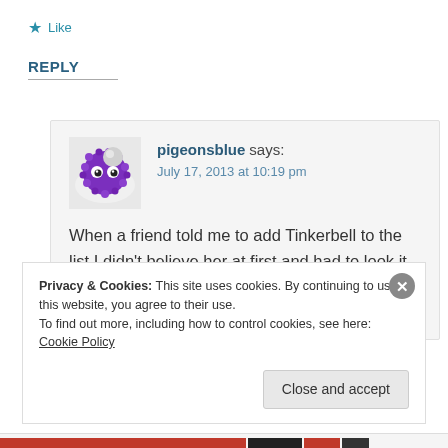★ Like
REPLY
[Figure (photo): Avatar image of a purple fuzzy ball toy with googly eyes]
pigeonsblue says:
July 17, 2013 at 10:19 pm
When a friend told me to add Tinkerbell to the list I didn't believe her at first and had to look it up! My cousin is also delighted by this one and thinks it is a great excuse for me to sit and
Privacy & Cookies: This site uses cookies. By continuing to use this website, you agree to their use.
To find out more, including how to control cookies, see here: Cookie Policy
Close and accept